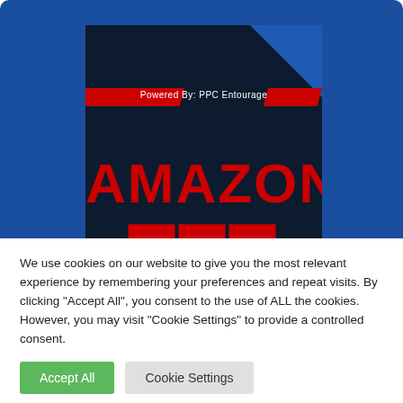[Figure (illustration): Book cover for Amazon FBA guide showing dark navy background with red 'AMAZON' text in bold and 'Powered By: PPC Entourage' label with red decorative stripes, displayed over a blue background.]
We use cookies on our website to give you the most relevant experience by remembering your preferences and repeat visits. By clicking "Accept All", you consent to the use of ALL the cookies. However, you may visit "Cookie Settings" to provide a controlled consent.